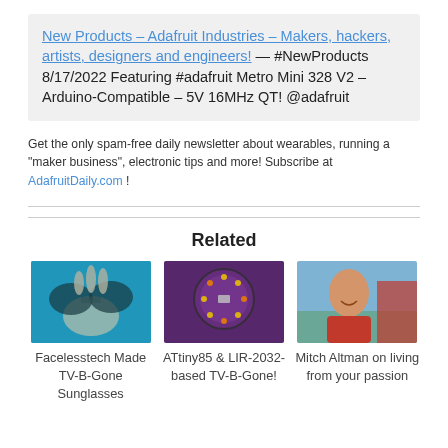New Products – Adafruit Industries – Makers, hackers, artists, designers and engineers! — #NewProducts 8/17/2022 Featuring #adafruit Metro Mini 328 V2 – Arduino-Compatible – 5V 16MHz QT! @adafruit
Get the only spam-free daily newsletter about wearables, running a "maker business", electronic tips and more! Subscribe at AdafruitDaily.com !
Related
[Figure (photo): Hand holding sunglasses in front of blue background]
Facelesstech Made TV-B-Gone Sunglasses
[Figure (photo): Circular purple PCB with LEDs (ATtiny85 & LIR-2032 based TV-B-Gone)]
ATtiny85 & LIR-2032-based TV-B-Gone!
[Figure (photo): Smiling bald man outdoors]
Mitch Altman on living from your passion